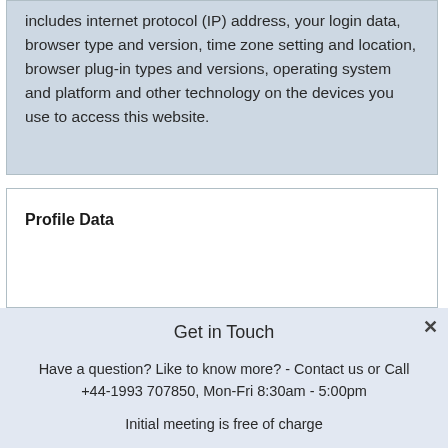includes internet protocol (IP) address, your login data, browser type and version, time zone setting and location, browser plug-in types and versions, operating system and platform and other technology on the devices you use to access this website.
Profile Data
Get in Touch
Have a question? Like to know more? - Contact us or Call +44-1993 707850, Mon-Fri 8:30am - 5:00pm
Initial meeting is free of charge